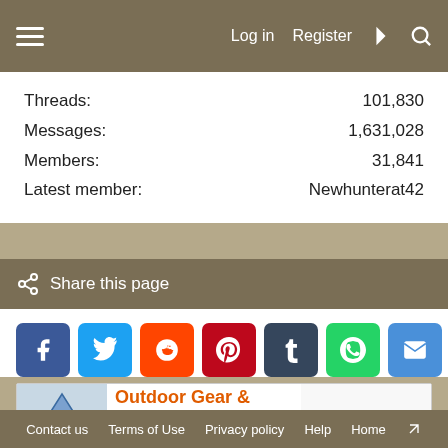Log in  Register
Threads: 101,830
Messages: 1,631,028
Members: 31,841
Latest member: Newhunterat42
Share this page
[Figure (other): Social media share buttons: Facebook, Twitter, Reddit, Pinterest, Tumblr, WhatsApp, Email, Link]
[Figure (other): Amazon advertisement: Outdoor Gear & Apparel for every adventure. Shop Amazon.com/outdoors]
Elk
Contact us  Terms of Use  Privacy policy  Help  Home